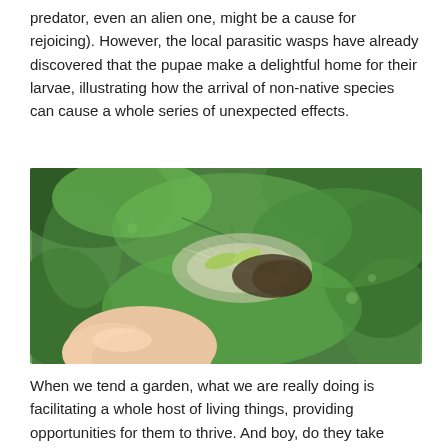predator, even an alien one, might be a cause for rejoicing). However, the local parasitic wasps have already discovered that the pupae make a delightful home for their larvae, illustrating how the arrival of non-native species can cause a whole series of unexpected effects.
[Figure (photo): Close-up photograph of a hand holding a plant leaf with insect larvae/pupae and silky webbing visible on the leaf surface, surrounded by green foliage.]
When we tend a garden, what we are really doing is facilitating a whole host of living things, providing opportunities for them to thrive. And boy, do they take